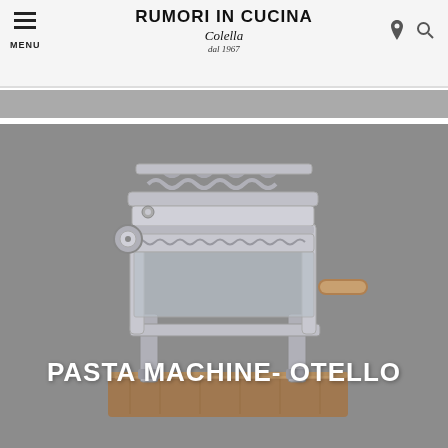RUMORI IN CUCINA — Colella dal 1967
[Figure (photo): A gray banner strip below the website header navigation bar]
[Figure (photo): Product photo of a stainless steel pasta machine called OTELLO with wooden base, displayed on a gray background]
PASTA MACHINE- OTELLO